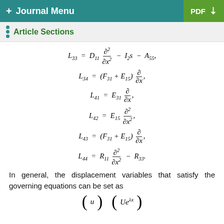+ Journal Menu   PDF ⬇
Article Sections
In general, the displacement variables that satisfy the governing equations can be set as